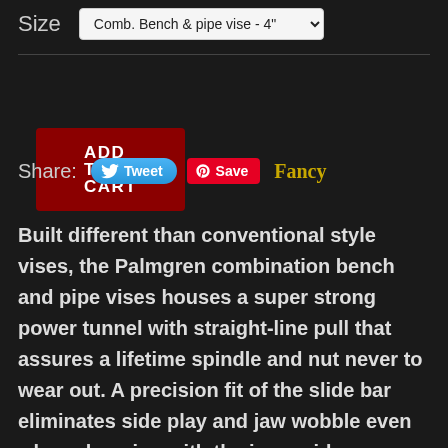Size
Comb. Bench & pipe vise - 4"
ADD TO CART
Share: Tweet Save Fancy
Built different than conventional style vises, the Palmgren combination bench and pipe vises houses a super strong power tunnel with straight-line pull that assures a lifetime spindle and nut never to wear out. A precision fit of the slide bar eliminates side play and jaw wobble even when clamping with the jaws wide open. The vise spindle and nut are totally enclosed in a square tube casting that protects them from dust, chips and moisture,